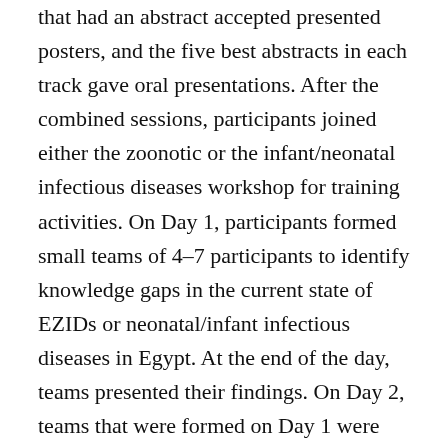that had an abstract accepted presented posters, and the five best abstracts in each track gave oral presentations. After the combined sessions, participants joined either the zoonotic or the infant/neonatal infectious diseases workshop for training activities. On Day 1, participants formed small teams of 4–7 participants to identify knowledge gaps in the current state of EZIDs or neonatal/infant infectious diseases in Egypt. At the end of the day, teams presented their findings. On Day 2, teams that were formed on Day 1 were paired to encourage interaction and they developed research questions that addressed gaps in knowledge identified in the previous day. On Day 3, participants matched study designs to their questions and on Day 4, participants outlined a